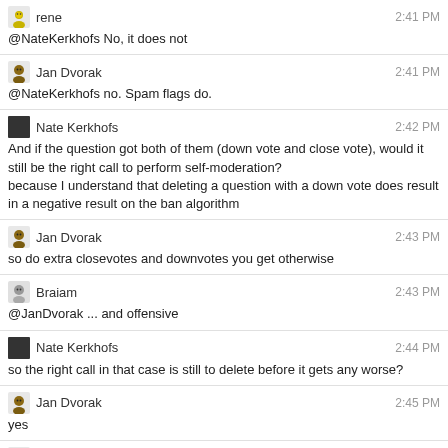rene 2:41 PM
@NateKerkhofs No, it does not
Jan Dvorak 2:41 PM
@NateKerkhofs no. Spam flags do.
Nate Kerkhofs 2:42 PM
And if the question got both of them (down vote and close vote), would it still be the right call to perform self-moderation?
because I understand that deleting a question with a down vote does result in a negative result on the ban algorithm
Jan Dvorak 2:43 PM
so do extra closevotes and downvotes you get otherwise
Braiam 2:43 PM
@JanDvorak ... and offensive
Nate Kerkhofs 2:44 PM
so the right call in that case is still to delete before it gets any worse?
Jan Dvorak 2:45 PM
yes
rene 2:45 PM
@NateKerkhofs You could wait till you have 3 downvotes and then delete it. That will give you the peer pressure badge...